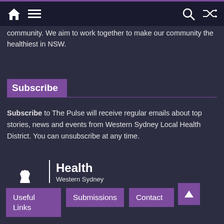Navigation bar with home, menu, search, and shuffle icons
community. We aim to work together to make our community the healthiest in NSW.
Subscribe
Subscribe to The Pulse will receive regular emails about top stories, news and events from Western Sydney Local Health District. You can unsubscribe at any time.
[Figure (logo): NSW Government Health logo with lotus flower and text: Health Western Sydney Local Health District]
Useful Links
Submissions
Contact